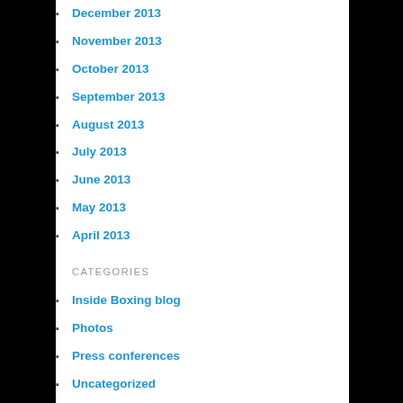December 2013
November 2013
October 2013
September 2013
August 2013
July 2013
June 2013
May 2013
April 2013
CATEGORIES
Inside Boxing blog
Photos
Press conferences
Uncategorized
Weigh-ins
COMMENTS POLICY
We invite you to use our commenting platform to engage in insightful conversations about issues in our community.